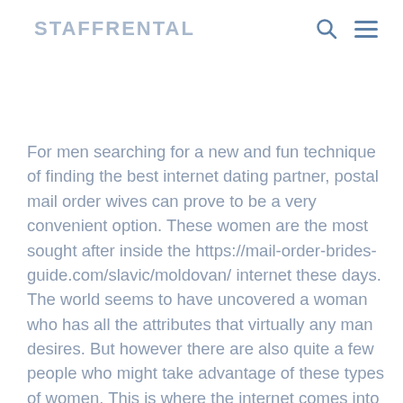STAFFRENTAL
For men searching for a new and fun technique of finding the best internet dating partner, postal mail order wives can prove to be a very convenient option. These women are the most sought after inside the https://mail-order-brides-guide.com/slavic/moldovan/ internet these days. The world seems to have uncovered a woman who has all the attributes that virtually any man desires. But however there are also quite a few people who might take advantage of these types of women. This is where the internet comes into